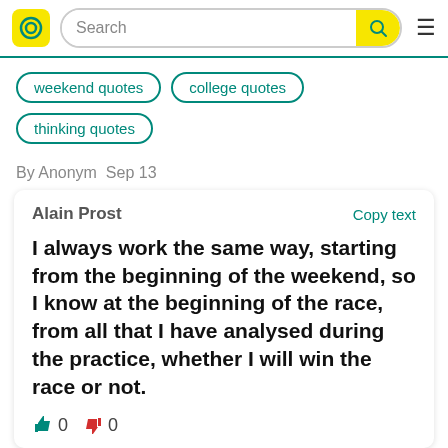Search
weekend quotes
college quotes
thinking quotes
By Anonym  Sep 13
Alain Prost
Copy text
I always work the same way, starting from the beginning of the weekend, so I know at the beginning of the race, from all that I have analysed during the practice, whether I will win the race or not.
0  0